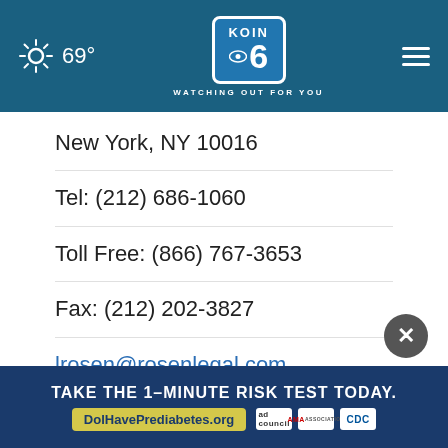KOIN 6 WATCHING OUT FOR YOU — 69°
New York, NY 10016
Tel: (212) 686-1060
Toll Free: (866) 767-3653
Fax: (212) 202-3827
lrosen@rosenlegal.com
pkim@rosenlegal.com
cases@rosenlegal.com
www.rosenlegal.com
[Figure (screenshot): Advertisement banner: TAKE THE 1-MINUTE RISK TEST TODAY. DolHavePrediabetes.org with ad council, AMA, and CDC logos.]